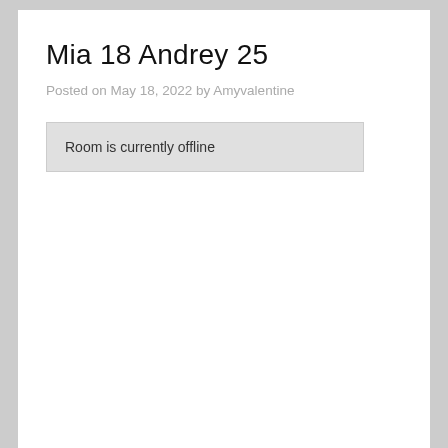Mia 18 Andrey 25
Posted on May 18, 2022 by Amyvalentine
Room is currently offline